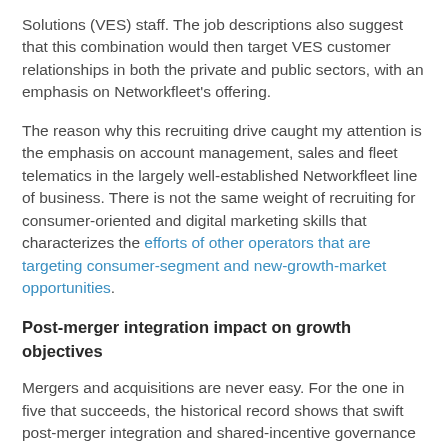Solutions (VES) staff. The job descriptions also suggest that this combination would then target VES customer relationships in both the private and public sectors, with an emphasis on Networkfleet's offering.
The reason why this recruiting drive caught my attention is the emphasis on account management, sales and fleet telematics in the largely well-established Networkfleet line of business. There is not the same weight of recruiting for consumer-oriented and digital marketing skills that characterizes the efforts of other operators that are targeting consumer-segment and new-growth-market opportunities.
Post-merger integration impact on growth objectives
Mergers and acquisitions are never easy. For the one in five that succeeds, the historical record shows that swift post-merger integration and shared-incentive governance models are critically important. Verizon's acquisitions encompass different platform capabilities (nPhase for M2M service enablement, HTI for fleet telematics and consumer automotive) as well as the intent to grow in non-traditional